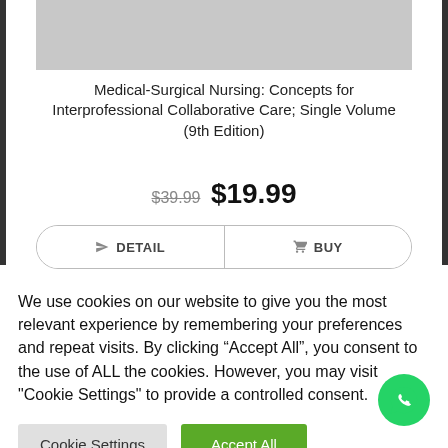[Figure (other): Gray placeholder book cover image area]
Medical-Surgical Nursing: Concepts for Interprofessional Collaborative Care; Single Volume (9th Edition)
$39.99 $19.99
DETAIL   BUY
We use cookies on our website to give you the most relevant experience by remembering your preferences and repeat visits. By clicking “Accept All”, you consent to the use of ALL the cookies. However, you may visit "Cookie Settings" to provide a controlled consent.
Cookie Settings   Accept All